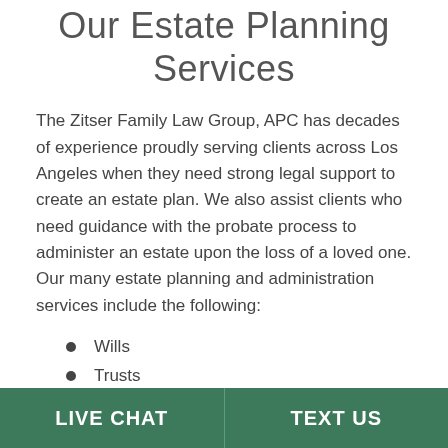Our Estate Planning Services
The Zitser Family Law Group, APC has decades of experience proudly serving clients across Los Angeles when they need strong legal support to create an estate plan. We also assist clients who need guidance with the probate process to administer an estate upon the loss of a loved one. Our many estate planning and administration services include the following:
Wills
Trusts
Power of Attorney
Life insurance planning
Charitable planning
LIVE CHAT   TEXT US